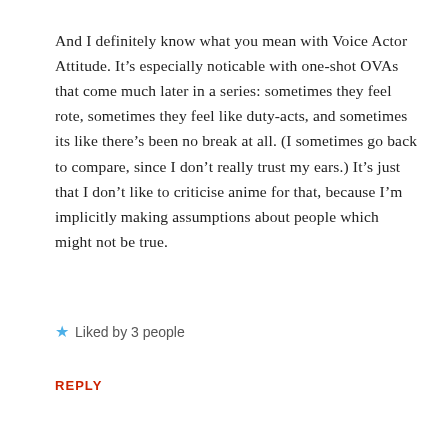And I definitely know what you mean with Voice Actor Attitude. It’s especially noticable with one-shot OVAs that come much later in a series: sometimes they feel rote, sometimes they feel like duty-acts, and sometimes its like there’s been no break at all. (I sometimes go back to compare, since I don’t really trust my ears.) It’s just that I don’t like to criticise anime for that, because I’m implicitly making assumptions about people which might not be true.
★ Liked by 3 people
REPLY